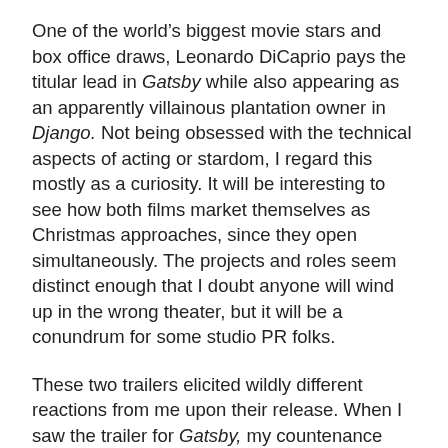One of the world's biggest movie stars and box office draws, Leonardo DiCaprio pays the titular lead in Gatsby while also appearing as an apparently villainous plantation owner in Django. Not being obsessed with the technical aspects of acting or stardom, I regard this mostly as a curiosity. It will be interesting to see how both films market themselves as Christmas approaches, since they open simultaneously. The projects and roles seem distinct enough that I doubt anyone will wind up in the wrong theater, but it will be a conundrum for some studio PR folks.
These two trailers elicited wildly different reactions from me upon their release. When I saw the trailer for Gatsby, my countenance was grim [SW2] and I found myself wincing and sighing throughout the proceedings. Admittedly, I've had reservations about this project since it was announced. Baz Luhrmann's